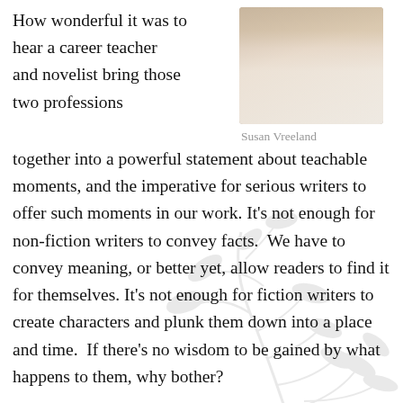[Figure (photo): Portrait photo of Susan Vreeland, a woman in a white blouse with a necklace, photographed from shoulders up]
Susan Vreeland
How wonderful it was to hear a career teacher and novelist bring those two professions together into a powerful statement about teachable moments, and the imperative for serious writers to offer such moments in our work. It's not enough for non-fiction writers to convey facts.  We have to convey meaning, or better yet, allow readers to find it for themselves. It's not enough for fiction writers to create characters and plunk them down into a place and time.  If there's no wisdom to be gained by what happens to them, why bother?